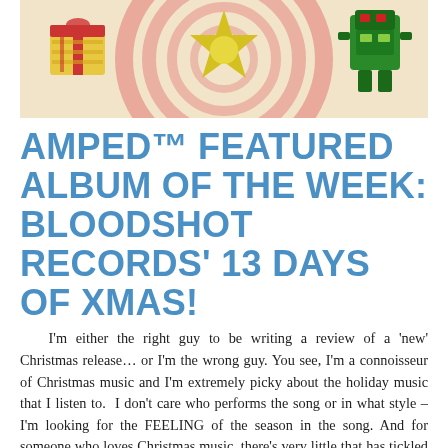[Figure (illustration): Colorful cartoon illustration showing holiday characters and decorations including a gift box, a yellow star/gear shape, and a green robot-like figure, on a cream background with red spiral/target design.]
AMPED™ FEATURED ALBUM OF THE WEEK: BLOODSHOT RECORDS' 13 DAYS OF XMAS!
I'm either the right guy to be writing a review of a 'new' Christmas release… or I'm the wrong guy. You see, I'm a connoisseur of Christmas music and I'm extremely picky about the holiday music that I listen to. I don't care who performs the song or in what style – I'm looking for the FEELING of the season in the song. And for someone who loves Christmas music, there's very little that has tickled my fancy since the